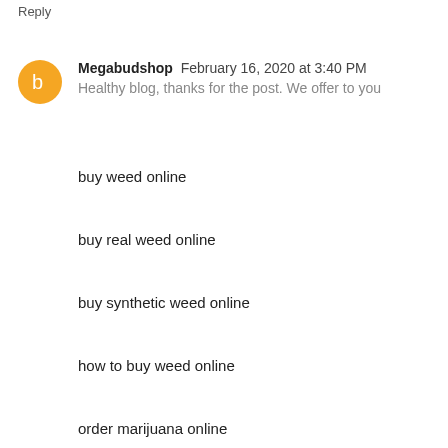Reply
Megabudshop  February 16, 2020 at 3:40 PM
Healthy blog, thanks for the post. We offer to you
buy weed online
buy real weed online
buy synthetic weed online
how to buy weed online
order marijuana online